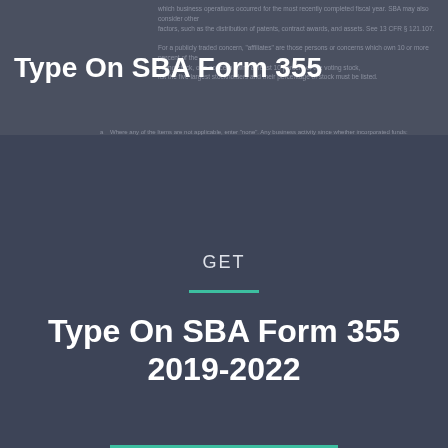Type On SBA Form 355
which business operations occurred for the most recently completed fiscal year. SBA may also consider other factors, such as the distribution of patents, contract awards, and assets. See 13 CFR § 121.107.

For a publicly traded concern, "affiliates" are those persons or concerns which own 10 or more percent of the voting stock, or a concern owns at least 10 percent of the voting stock, list the five largest stockholders and their percentage of stock must be listed.
Where any of the Items are not applicable, enter "none". Any business activity since whether incorporated funds:
GET
Type On SBA Form 355 2019-2022
Get Form